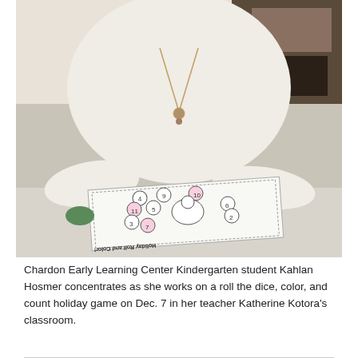[Figure (photo): A child wearing a white long-sleeve shirt and a necklace sits at a table, concentrating as she works on a 'Holiday Roll and Color' game sheet with numbered circles, some colored in pink. The worksheet shows a cartoon reindeer and numbers in circles arranged around it.]
Chardon Early Learning Center Kindergarten student Kahlan Hosmer concentrates as she works on a roll the dice, color, and count holiday game on Dec. 7 in her teacher Katherine Kotora's classroom.